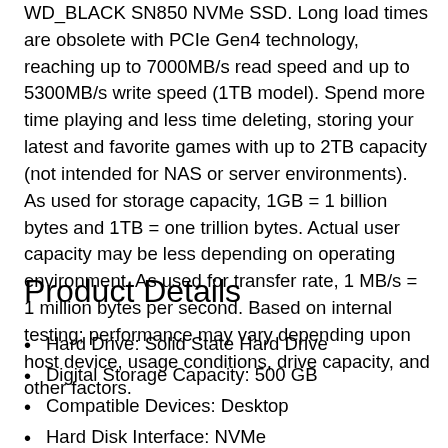WD_BLACK SN850 NVMe SSD. Long load times are obsolete with PCIe Gen4 technology, reaching up to 7000MB/s read speed and up to 5300MB/s write speed (1TB model). Spend more time playing and less time deleting, storing your latest and favorite games with up to 2TB capacity (not intended for NAS or server environments). As used for storage capacity, 1GB = 1 billion bytes and 1TB = one trillion bytes. Actual user capacity may be less depending on operating environment. As used for transfer rate, 1 MB/s = 1 million bytes per second. Based on internal testing; performance may vary depending upon host device, usage conditions, drive capacity, and other factors.
Product Details
Hard Drive: Solid State Hard Drive
Digital Storage Capacity: 500 GB
Compatible Devices: Desktop
Hard Disk Interface: NVMe